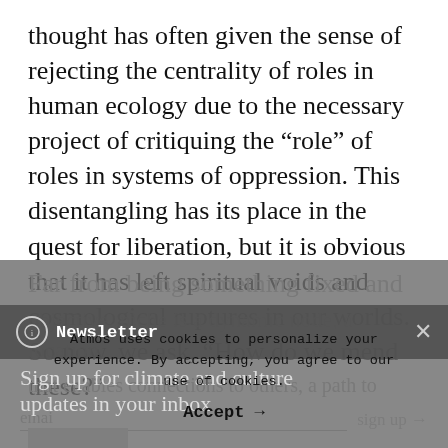thought has often given the sense of rejecting the centrality of roles in human ecology due to the necessary project of critiquing the “role” of roles in systems of oppression. This disentangling has its place in the quest for liberation, but it is obvious that it has left spiritual voids and cosmological ruptures in our worlds. So now, we ask, “How do we mend these?” Far from being something fixed and objective, niche is a dynamic node, a location that enables connections to others, a path to
Newsletter
Sign up for climate and culture updates in your inbox
Atmos uses cookies to personalize your experience. By accepting, you agree to our use of cookies.
Accept →